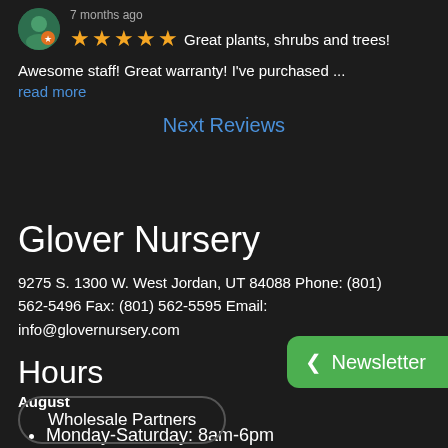7 months ago
★★★★★  Great plants, shrubs and trees!
Awesome staff!  Great warranty!  I've  purchased ...
read more
Next Reviews
Glover Nursery
9275 S. 1300 W. West Jordan, UT 84088 Phone: (801) 562-5496 Fax: (801) 562-5595 Email: info@glovernursery.com
Hours
August
Monday-Saturday: 8am-6pm
Closed Sundays
Newsletter
Wholesale Partners